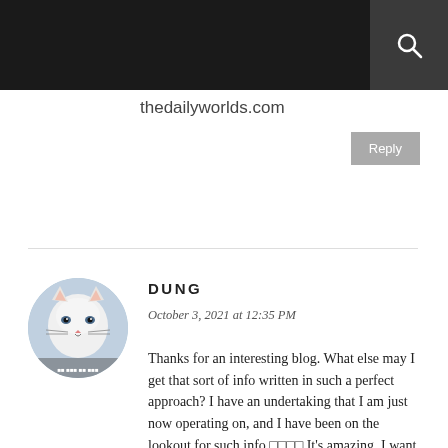thedailyworlds.com
Reply
[Figure (photo): Avatar photo of a white cat used as commenter profile picture]
DUNG
October 3, 2021 at 12:35 PM
Thanks for an interesting blog. What else may I get that sort of info written in such a perfect approach? I have an undertaking that I am just now operating on, and I have been on the lookout for such info 🐱 It's amazing. I want to learn